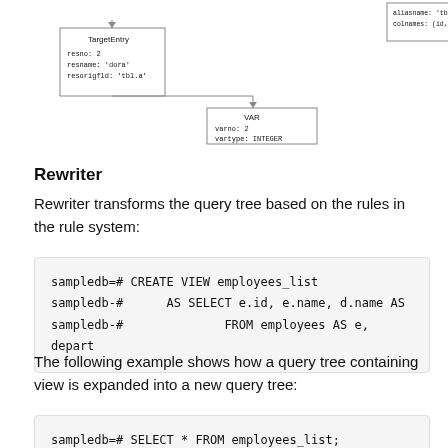[Figure (engineering-diagram): Query tree diagram showing nodes: TargetEntry (resno: 2, resname: 'dora', resorigfld: 'tbl.a'), VAR (varno: 2, vartype: INTEGER), and other nodes including aliasname: 'tbl.a', colnames: (id, data), VarSper 'a', CONST 300]
Rewriter
Rewriter transforms the query tree based on the rules in the rule system:
sampledb=# CREATE VIEW employees_list
sampledb-#       AS SELECT e.id, e.name, d.name AS
sampledb-#               FROM employees AS e, depart
The following example shows how a query tree containing view is expanded into a new query tree:
sampledb=# SELECT * FROM employees_list;